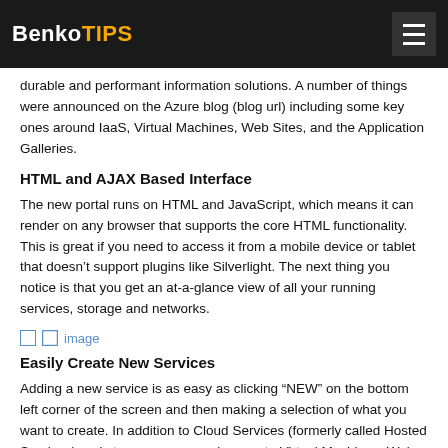BenkoTIPS
durable and performant information solutions. A number of things were announced on the Azure blog (blog url) including some key ones around IaaS, Virtual Machines, Web Sites, and the Application Galleries.
HTML and AJAX Based Interface
The new portal runs on HTML and JavaScript, which means it can render on any browser that supports the core HTML functionality. This is great if you need to access it from a mobile device or tablet that doesn’t support plugins like Silverlight. The next thing you notice is that you get an at-a-glance view of all your running services, storage and networks.
[Figure (photo): image placeholder link]
Easily Create New Services
Adding a new service is as easy as clicking “NEW” on the bottom left corner of the screen and then making a selection of what you want to create. In addition to Cloud Services (formerly called Hosted Services) and storage, you can also create Virtual Machines, Web Sites, and Networks. These generally include a